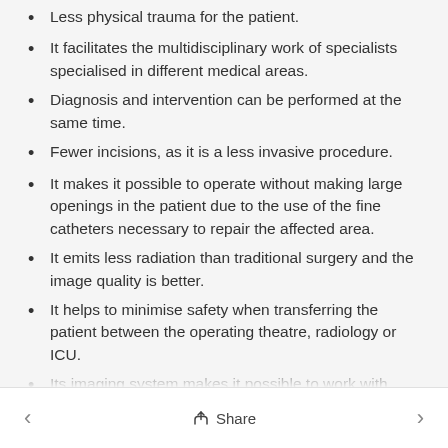Less physical trauma for the patient.
It facilitates the multidisciplinary work of specialists specialised in different medical areas.
Diagnosis and intervention can be performed at the same time.
Fewer incisions, as it is a less invasive procedure.
It makes it possible to operate without making large openings in the patient due to the use of the fine catheters necessary to repair the affected area.
It emits less radiation than traditional surgery and the image quality is better.
It helps to minimise safety when transferring the patient between the operating theatre, radiology or ICU.
Its imaging system makes it possible to work with small incisions, without having to open up the patient and
< Share >